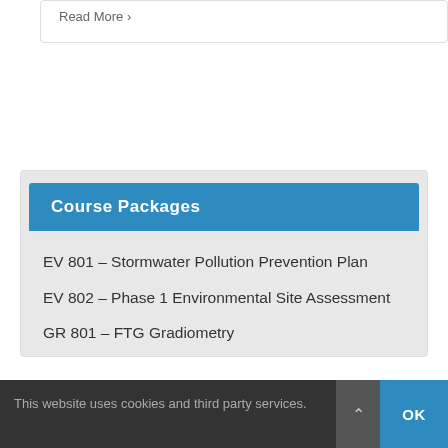Read More ›
Course Packages
EV 801 – Stormwater Pollution Prevention Plan
EV 802 – Phase 1 Environmental Site Assessment
GR 801 – FTG Gradiometry
This website uses cookies and third party services. OK